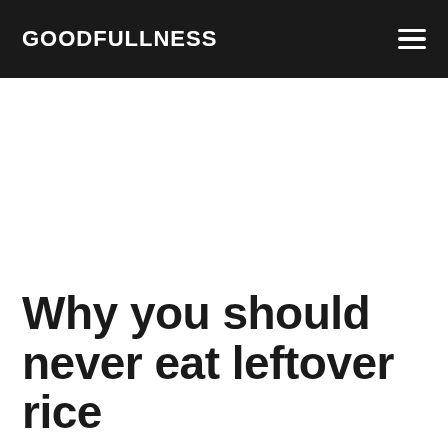GOODFULLNESS
Why you should never eat leftover rice